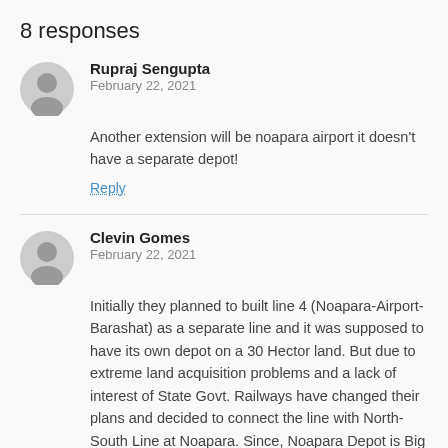8 responses
Rupraj Sengupta
February 22, 2021
Another extension will be noapara airport it doesn't have a separate depot!
Reply
Clevin Gomes
February 22, 2021
Initially they planned to built line 4 (Noapara-Airport-Barashat) as a separate line and it was supposed to have its own depot on a 30 Hector land. But due to extreme land acquisition problems and a lack of interest of State Govt. Railways have changed their plans and decided to connect the line with North-South Line at Noapara. Since, Noapara Depot is Big enough to accommodate trains for line 4.